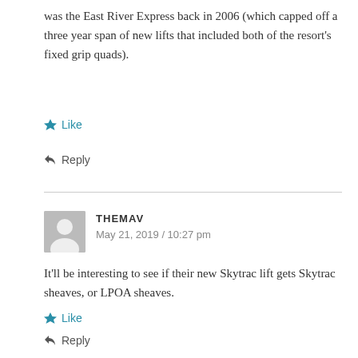was the East River Express back in 2006 (which capped off a three year span of new lifts that included both of the resort's fixed grip quads).
Like
Reply
THEMAV
May 21, 2019 / 10:27 pm
It’ll be interesting to see if their new Skytrac lift gets Skytrac sheaves, or LPOA sheaves.
Like
Reply